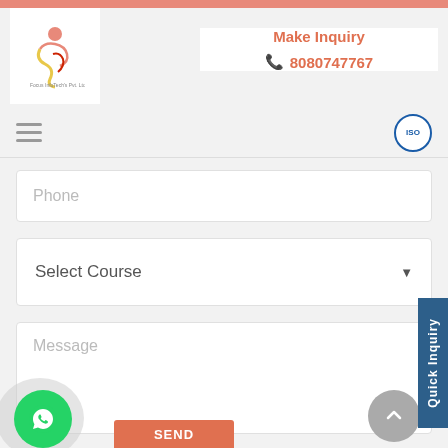[Figure (logo): Focus InfoTech Pvt. Ltd. logo with stylized figure]
Make Inquiry
📞 8080747767
[Figure (infographic): Hamburger menu icon (three horizontal lines)]
[Figure (logo): ISO certification badge]
Phone
Select Course
Message
Quick Inquiry
SEND